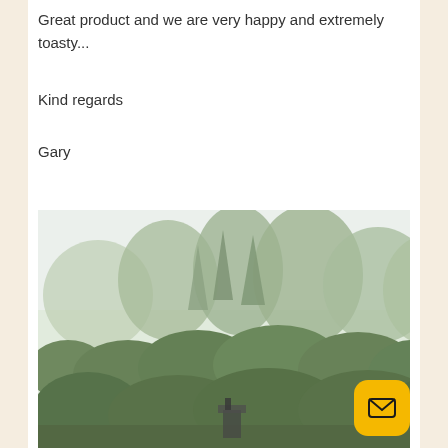Great product and we are very happy and extremely toasty...
Kind regards
Gary
[Figure (photo): Outdoor photo showing a row of tall green trees against a pale sky, with dense shrubs and a small structure visible at the bottom center. A yellow email button icon is overlaid in the bottom-right corner.]